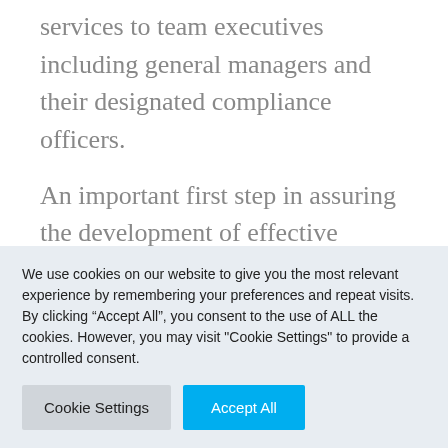services to team executives including general managers and their designated compliance officers.
An important first step in assuring the development of effective preventative programs would be for each league to adopt a set of minimum standards for an effective compliance and ethics program for
We use cookies on our website to give you the most relevant experience by remembering your preferences and repeat visits. By clicking "Accept All", you consent to the use of ALL the cookies. However, you may visit "Cookie Settings" to provide a controlled consent.